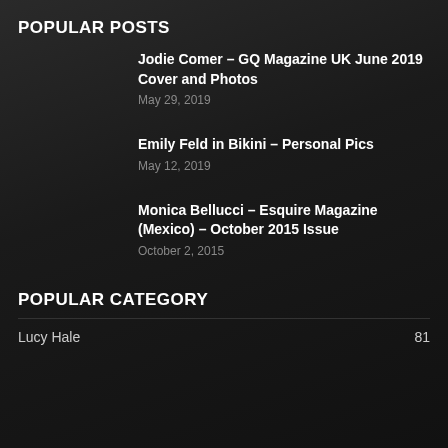POPULAR POSTS
Jodie Comer – GQ Magazine UK June 2019 Cover and Photos
May 29, 2019
Emily Feld in Bikini – Personal Pics
May 12, 2019
Monica Bellucci – Esquire Magazine (Mexico) – October 2015 Issue
October 2, 2015
POPULAR CATEGORY
Lucy Hale   81